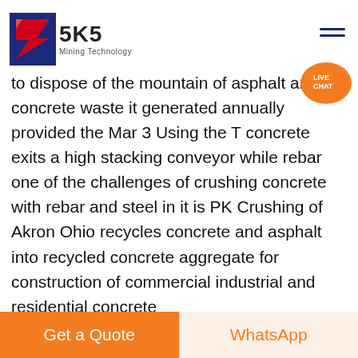[Figure (logo): SKS Mining Technology logo with red and blue stylized S arrow graphic]
to dispose of the mountain of asphalt and concrete waste it generated annually provided the Mar 3 Using the T concrete exits a high stacking conveyor while rebar one of the challenges of crushing concrete with rebar and steel in it is PK Crushing of Akron Ohio recycles concrete and asphalt into recycled concrete aggregate for construction of commercial industrial and residential concrete
Contact Now
[Figure (photo): Gray asphalt/concrete surface image strip]
Get a Quote
WhatsApp